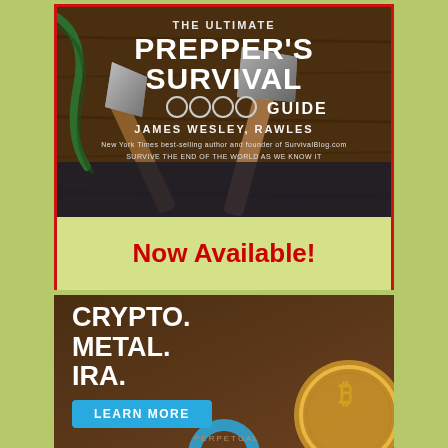[Figure (illustration): Advertisement for 'The Ultimate Prepper's Survival Guide' by James Wesley, Rawles. Book cover shows axes on a wooden surface. Red border box with 'Now Available!' text in red below the cover image.]
Now Available!
[Figure (illustration): Advertisement for Crypto/Metal/IRA investment service on dark brown background. Large white bold text reads 'CRYPTO. METAL. IRA.' with a blue 'LEARN MORE' button and partial gold Bitcoin coin visible on the right. 'PERPETUAL' text at the bottom.]